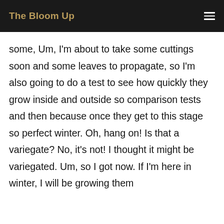The Bloom Up
some, Um, I'm about to take some cuttings soon and some leaves to propagate, so I'm also going to do a test to see how quickly they grow inside and outside so comparison tests and then because once they get to this stage so perfect winter. Oh, hang on! Is that a variegate? No, it's not! I thought it might be variegated. Um, so I got now. If I'm here in winter, I will be growing them